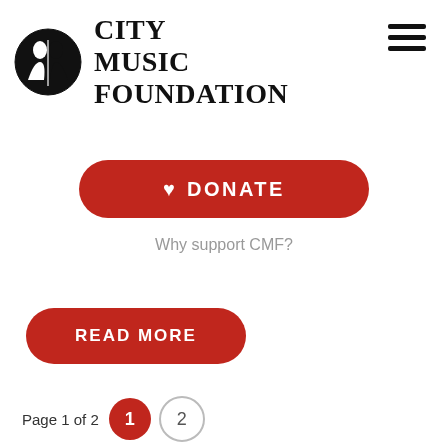[Figure (logo): City Music Foundation logo: circular icon with two face silhouettes (black and white), beside bold serif text reading CITY MUSIC FOUNDATION in three lines]
[Figure (other): Hamburger menu icon (three horizontal lines) in top right corner]
[Figure (other): Red pill-shaped DONATE button with white heart icon and white bold uppercase text DONATE]
Why support CMF?
[Figure (other): Red pill-shaped READ MORE button with white bold uppercase text READ MORE]
Page 1 of 2  1  2